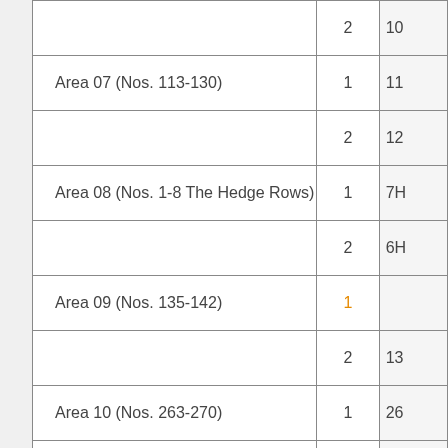| Area | Sub-area | Details |
| --- | --- | --- |
|  | 2 | 10... |
| Area 07 (Nos. 113-130) | 1 | 11... |
|  | 2 | 12... |
| Area 08 (Nos. 1-8 The Hedge Rows) | 1 | 7H... |
|  | 2 | 6H... |
| Area 09 (Nos. 135-142) | 1 |  |
|  | 2 | 13... |
| Area 10 (Nos. 263-270) | 1 | 26... |
|  | 2 | 26... |